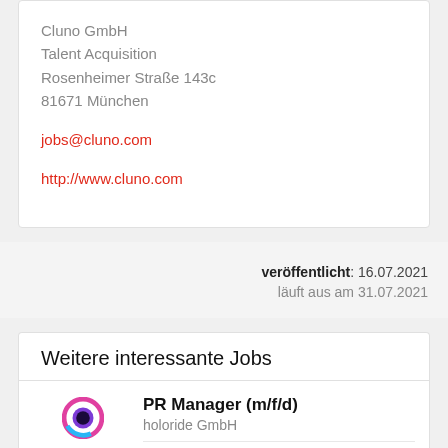Cluno GmbH
Talent Acquisition
Rosenheimer Straße 143c
81671 München
jobs@cluno.com
http://www.cluno.com
veröffentlicht: 16.07.2021
läuft aus am 31.07.2021
Weitere interessante Jobs
PR Manager (m/f/d)
holoride GmbH
zum nächstmöglichen Zeitpunkt
80799 München